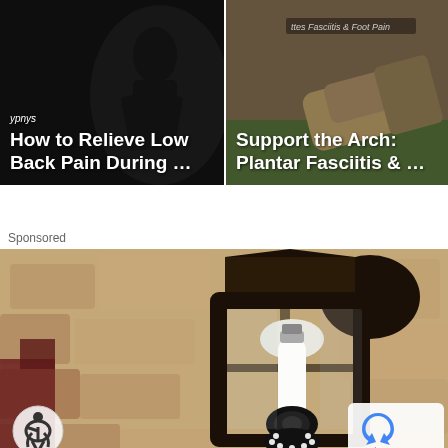[Figure (photo): Thumbnail showing how to relieve low back pain during exercise, dark background with a person]
[Figure (photo): Thumbnail showing support the arch plantar fasciitis, person wearing shoe visible]
Sponsored
[Figure (photo): Sponsored advertisement photo of an outdoor wall lantern with a security camera light bulb installed inside it, mounted on a stone wall]